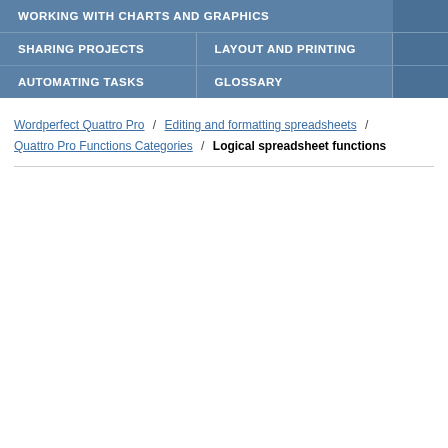WORKING WITH CHARTS AND GRAPHICS
SHARING PROJECTS / LAYOUT AND PRINTING
AUTOMATING TASKS / GLOSSARY
Wordperfect Quattro Pro / Editing and formatting spreadsheets / Quattro Pro Functions Categories / Logical spreadsheet functions